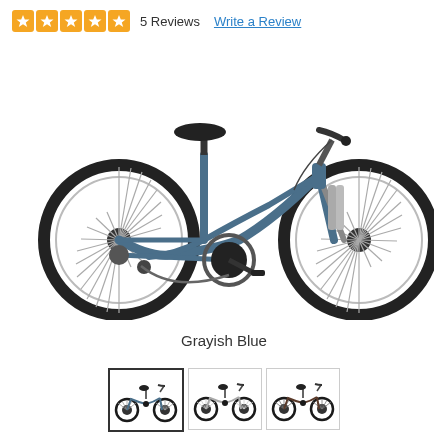[Figure (other): Five orange star rating icons in rounded square boxes]
5 Reviews
Write a Review
[Figure (photo): A grayish blue step-through comfort/hybrid bicycle with front suspension fork, wide tires, upright handlebars, and derailleur gearing, shown on white background]
Grayish Blue
[Figure (photo): Three color variant thumbnail images of the same bicycle style: blue (selected), silver/white, and dark/black versions]